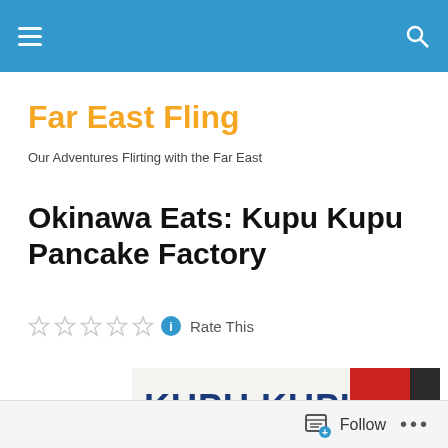Far East Fling — navigation bar
Far East Fling
Our Adventures Flirting with the Far East
Okinawa Eats: Kupu Kupu Pancake Factory
Rate This
[Figure (photo): Photo of Kupu Kupu signage — large sign reading KUPU KUPU with red accent panel]
Follow  •••